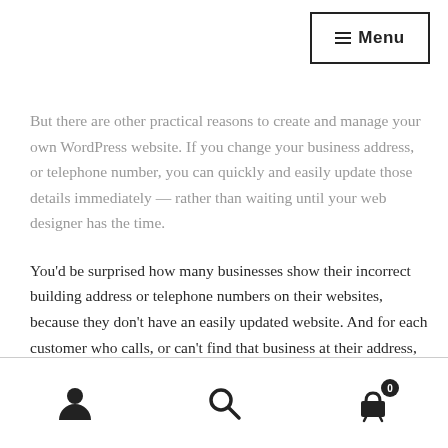≡ Menu
But there are other practical reasons to create and manage your own WordPress website. If you change your business address, or telephone number, you can quickly and easily update those details immediately — rather than waiting until your web designer has the time.
You'd be surprised how many businesses show their incorrect building address or telephone numbers on their websites, because they don't have an easily updated website. And for each customer who calls, or can't find that business at their address, that's a customer they've lost to their competitor.
Navigation icons: user, search, cart (0)